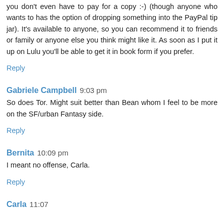you don't even have to pay for a copy :-) (though anyone who wants to has the option of dropping something into the PayPal tip jar). It's available to anyone, so you can recommend it to friends or family or anyone else you think might like it. As soon as I put it up on Lulu you'll be able to get it in book form if you prefer.
Reply
Gabriele Campbell  9:03 pm
So does Tor. Might suit better than Bean whom I feel to be more on the SF/urban Fantasy side.
Reply
Bernita  10:09 pm
I meant no offense, Carla.
Reply
Carla  11:07